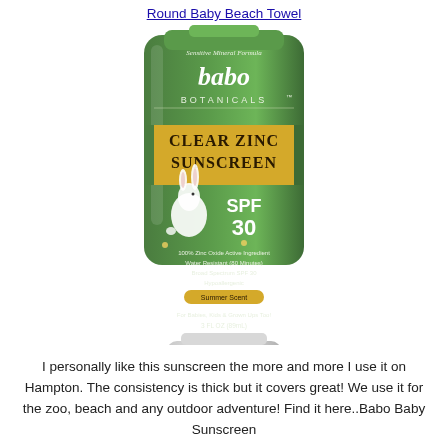Round Baby Beach Towel
[Figure (photo): Babo Botanicals Clear Zinc Sunscreen SPF 30 product tube in green with yellow label, featuring a white rabbit illustration. Text on label: Sensitive Mineral Formula, babo BOTANICALS, CLEAR ZINC SUNSCREEN, SPF 30, 100% Zinc Oxide Active Ingredient, Water Resistant (80 Minutes), Broad Spectrum SPF 30, Hypoallergenic, Summer Scent, For Babies, Kids & Grown Ups Too!, 3 FL OZ (89mL).]
I personally like this sunscreen the more and more I use it on Hampton. The consistency is thick but it covers great! We use it for the zoo, beach and any outdoor adventure! Find it here..Babo Baby Sunscreen